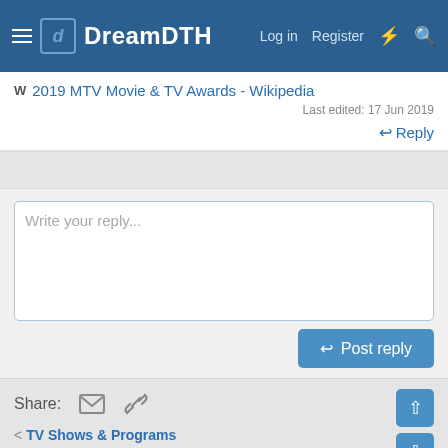DreamDTH | Log in | Register
2019 MTV Movie & TV Awards - Wikipedia
Last edited: 17 Jun 2019
Reply
Write your reply...
Post reply
Share:
TV Shows & Programs